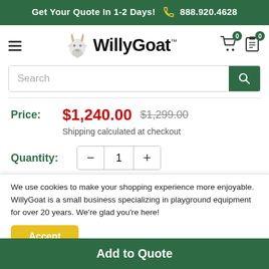Get Your Quote In 1-2 Days! 888.920.4628
[Figure (logo): WillyGoat logo with goat mascot and bold text]
Search
Price: $1,240.00 $1,299.00
Shipping calculated at checkout
Quantity: 1
We use cookies to make your shopping experience more enjoyable. WillyGoat is a small business specializing in playground equipment for over 20 years. We're glad you're here!
Accept
Add to Quote